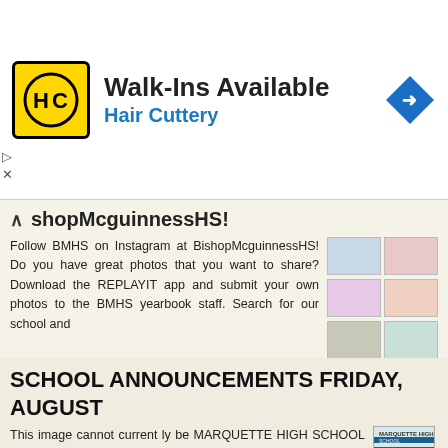[Figure (screenshot): Hair Cuttery advertisement banner with logo showing HC letters, text 'Walk-Ins Available' and 'Hair Cuttery', and a blue navigation arrow icon]
BishopMcguinnessHS!
Follow BMHS on Instagram at BishopMcguinnessHS! Do you have great photos that you want to share? Download the REPLAYIT app and submit your own photos to the BMHS yearbook staff. Search for our school and
More information →
SCHOOL ANNOUNCEMENTS FRIDAY, AUGUST
This image cannot current ly be MARQUETTE HIGH SCHOOL ANNOUNCEMENTS FRIDAY, AUGUST 19,